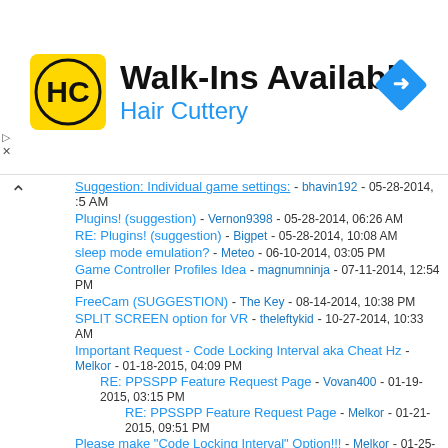[Figure (advertisement): Hair Cuttery advertisement banner with logo, text 'Walk-Ins Available', and navigation icon]
Suggestion: Individual game settings: - bhavin192 - 05-28-2014, [5 AM (partial/truncated)
Plugins! (suggestion) - Vernon9398 - 05-28-2014, 06:26 AM
RE: Plugins! (suggestion) - Bigpet - 05-28-2014, 10:08 AM
sleep mode emulation? - Meteo - 06-10-2014, 03:05 PM
Game Controller Profiles Idea - magnumninja - 07-11-2014, 12:54 PM
FreeCam (SUGGESTION) - The Key - 08-14-2014, 10:38 PM
SPLIT SCREEN option for VR - theleftykid - 10-27-2014, 10:33 AM
Important Request - Code Locking Interval aka Cheat Hz - Melkor - 01-18-2015, 04:09 PM
RE: PPSSPP Feature Request Page - Vovan400 - 01-19-2015, 03:15 PM
RE: PPSSPP Feature Request Page - Melkor - 01-21-2015, 09:51 PM
Please make "Code Locking Interval" Option!!! - Melkor - 01-25-2015, 10:54 AM
RE: PPSSPP Feature Request Page - iakoboss7 - 01-28-2015, 12:48 AM
RE: PPSSPP Feature Request Page - LunaMoo - 01-28-2015, 06:39 AM